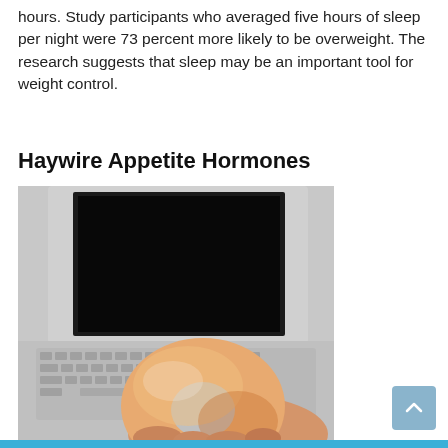hours. Study participants who averaged five hours of sleep per night were 73 percent more likely to be overweight. The research suggests that sleep may be an important tool for weight control.
Haywire Appetite Hormones
[Figure (photo): A person holding a glazed donut in front of an open laptop computer with a dark screen, keyboard visible in foreground.]